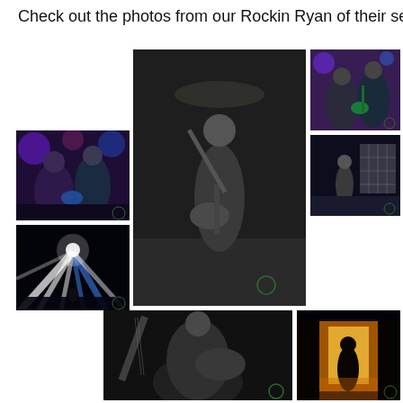Check out the photos from our Rockin Ryan of their set:
[Figure (photo): Black and white concert photo of a guitarist looking up while playing, center stage]
[Figure (photo): Color concert photo of two musicians with a green guitar under purple/blue stage lights]
[Figure (photo): Color concert photo wide stage shot with performer and LED light backdrop]
[Figure (photo): Color concert photo of two musicians under purple stage lights]
[Figure (photo): Color concert photo of dramatic stage light beams radiating outward over crowd]
[Figure (photo): Black and white concert photo of guitarist playing low angle shot]
[Figure (photo): Color concert photo of stage with bright orange/warm light silhouetting performer]